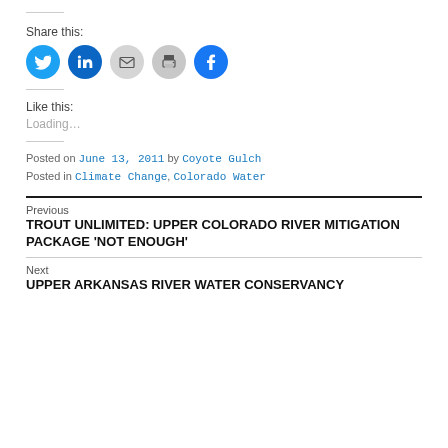Share this:
[Figure (infographic): Social share icons: Twitter (blue), LinkedIn (blue), Email (gray), Print (gray), Facebook (blue)]
Like this:
Loading...
Posted on June 13, 2011 by Coyote Gulch
Posted in Climate Change, Colorado Water
Previous
TROUT UNLIMITED: UPPER COLORADO RIVER MITIGATION PACKAGE 'NOT ENOUGH'
Next
UPPER ARKANSAS RIVER WATER CONSERVANCY